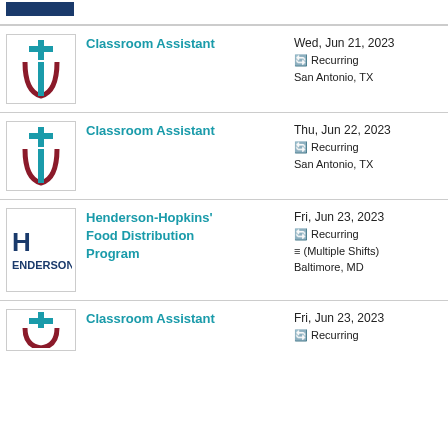[Figure (logo): Organization logo bar at top (partially visible)]
Classroom Assistant — Wed, Jun 21, 2023 — Recurring — San Antonio, TX
Classroom Assistant — Thu, Jun 22, 2023 — Recurring — San Antonio, TX
Henderson-Hopkins' Food Distribution Program — Fri, Jun 23, 2023 — Recurring — (Multiple Shifts) — Baltimore, MD
Classroom Assistant — Fri, Jun 23, 2023 — Recurring